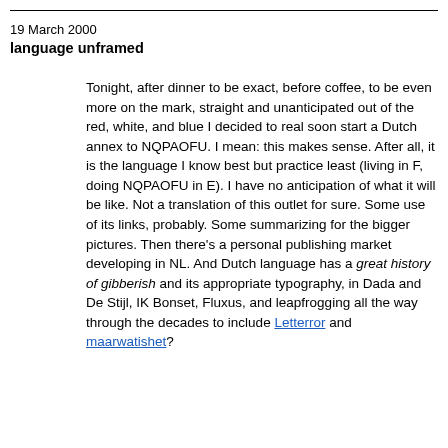19 March 2000
language unframed
Tonight, after dinner to be exact, before coffee, to be even more on the mark, straight and unanticipated out of the red, white, and blue I decided to real soon start a Dutch annex to NQPAOFU. I mean: this makes sense. After all, it is the language I know best but practice least (living in F, doing NQPAOFU in E). I have no anticipation of what it will be like. Not a translation of this outlet for sure. Some use of its links, probably. Some summarizing for the bigger pictures. Then there's a personal publishing market developing in NL. And Dutch language has a great history of gibberish and its appropriate typography, in Dada and De Stijl, IK Bonset, Fluxus, and leapfrogging all the way through the decades to include Letterror and maarwatishet?